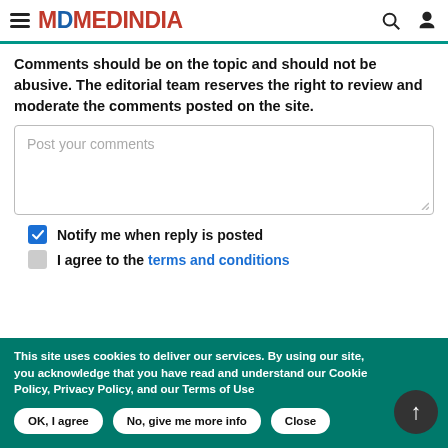MEDINDIA
Comments should be on the topic and should not be abusive. The editorial team reserves the right to review and moderate the comments posted on the site.
Post your comments
Notify me when reply is posted
I agree to the terms and conditions
This site uses cookies to deliver our services. By using our site, you acknowledge that you have read and understand our Cookie Policy, Privacy Policy, and our Terms of Use